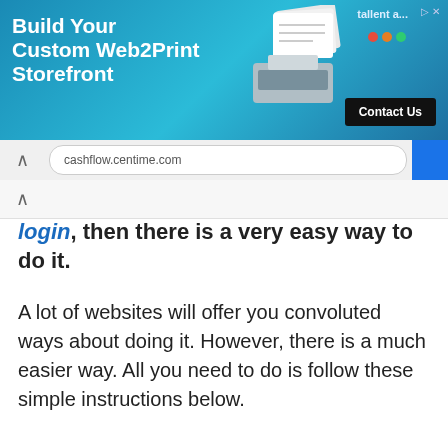[Figure (screenshot): Advertisement banner for a Web2Print Storefront builder with printer graphic, tallent logo, and Contact Us button on blue background]
[Figure (screenshot): Browser address bar showing cashflow.centime.com]
login, then there is a very easy way to do it.
A lot of websites will offer you convoluted ways about doing it. However, there is a much easier way. All you need to do is follow these simple instructions below.
[Figure (photo): Sports collage advertisement showing multiple athletes from various sports (cycling, football, soccer, etc.) with a Jock Eze product box overlay]